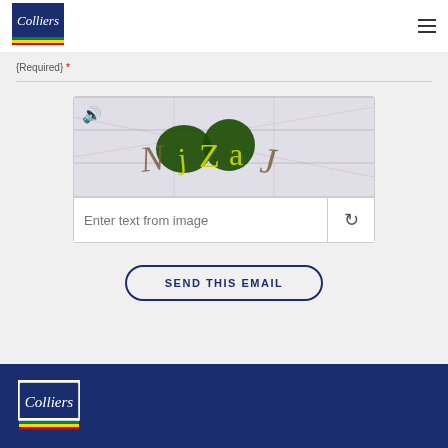[Figure (logo): Colliers logo in header, white background with blue, green, yellow, red stripes]
{Required} *
[Figure (screenshot): CAPTCHA widget with distorted text image showing 'NjZaJ' on tiled background, with audio and refresh buttons, and text input field saying 'Enter text from image']
SEND THIS EMAIL
[Figure (logo): Colliers logo in footer on dark blue background]